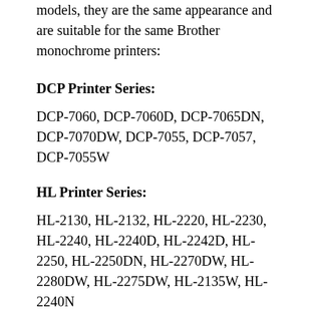models, they are the same appearance and are suitable for the same Brother monochrome printers:
DCP Printer Series:
DCP-7060, DCP-7060D, DCP-7065DN, DCP-7070DW, DCP-7055, DCP-7057, DCP-7055W
HL Printer Series:
HL-2130, HL-2132, HL-2220, HL-2230, HL-2240, HL-2240D, HL-2242D, HL-2250, HL-2250DN, HL-2270DW, HL-2280DW, HL-2275DW, HL-2135W, HL-2240N
MFC Printer Series: